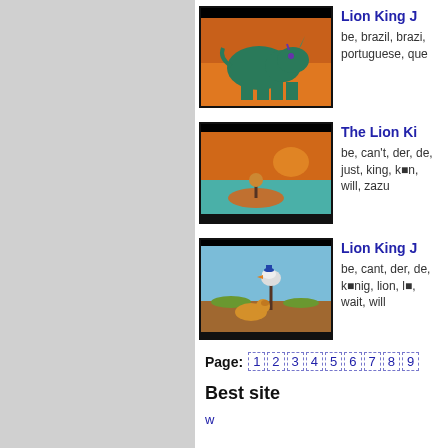[Figure (illustration): Animated scene from Lion King showing a green rhinoceros on an orange background]
Lion King J
be, brazil, brazi, portuguese, que
[Figure (illustration): Animated scene from The Lion King showing a character on a landscape with orange sky and teal water]
The Lion Ki
be, can't, der, de, just, king, k■n, will, zazu
[Figure (illustration): Animated scene from Lion King Junior showing Zazu with Simba on a grassy hill]
Lion King J
be, cant, der, de, k■nig, lion, l■, wait, will
Page: 1 2 3 4 5 6 7 8 9
Best site
w